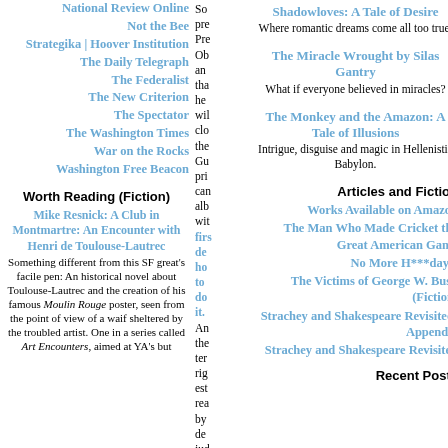National Review Online
Not the Bee
Strategika | Hoover Institution
The Daily Telegraph
The Federalist
The New Criterion
The Spectator
The Washington Times
War on the Rocks
Washington Free Beacon
Worth Reading (Fiction)
Mike Resnick: A Club in Montmartre: An Encounter with Henri de Toulouse-Lautrec
Something different from this SF great's facile pen: An historical novel about Toulouse-Lautrec and the creation of his famous Moulin Rouge poster, seen from the point of view of a waif sheltered by the troubled artist. One in a series called Art Encounters, aimed at YA's but
So pre Pre Ob and tha he wil clo the Gu pri can alb wit firs de ho to do it. An the ter rig est rea by de jud rev for ter cal
Shadowloves: A Tale of Desire
Where romantic dreams come all too true.
The Miracle Wrought by Silas Gantry
What if everyone believed in miracles?
The Monkey and the Amazon: A Tale of Illusions
Intrigue, disguise and magic in Hellenistic Babylon.
Articles and Fiction
Works Available on Amazon
The Man Who Made Cricket the Great American Game
No More H***days!
The Victims of George W. Bush (Fiction)
Strachey and Shakespeare Revisited: Appendix
Strachey and Shakespeare Revisited
Recent Posts